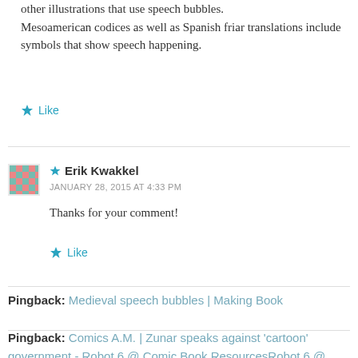other illustrations that use speech bubbles. Mesoamerican codices as well as Spanish friar translations include symbols that show speech happening.
Like
★ Erik Kwakkel
JANUARY 28, 2015 AT 4:33 PM
Thanks for your comment!
Like
Pingback: Medieval speech bubbles | Making Book
Pingback: Comics A.M. | Zunar speaks against 'cartoon' government - Robot 6 @ Comic Book ResourcesRobot 6 @